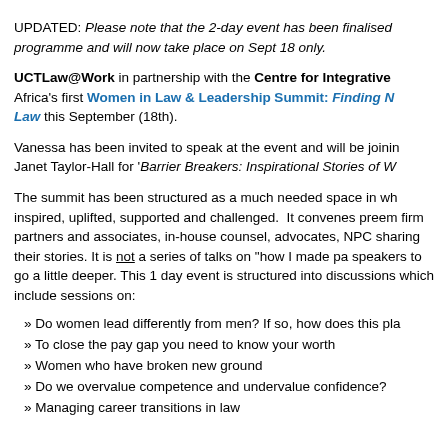UPDATED: Please note that the 2-day event has been finalised programme and will now take place on Sept 18 only.
UCTLaw@Work in partnership with the Centre for Integrative Africa's first Women in Law & Leadership Summit: Finding N Law this September (18th).
Vanessa has been invited to speak at the event and will be joining Janet Taylor-Hall for 'Barrier Breakers: Inspirational Stories of W
The summit has been structured as a much needed space in wh inspired, uplifted, supported and challenged. It convenes preem firm partners and associates, in-house counsel, advocates, NPC sharing their stories. It is not a series of talks on "how I made pa speakers to go a little deeper. This 1 day event is structured into discussions which include sessions on:
» Do women lead differently from men? If so, how does this pla
» To close the pay gap you need to know your worth
» Women who have broken new ground
» Do we overvalue competence and undervalue confidence?
» Managing career transitions in law